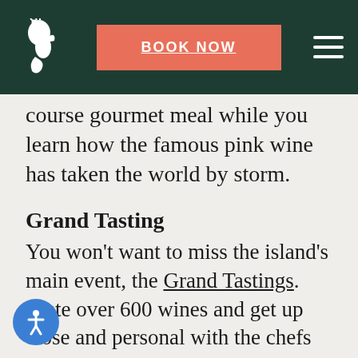BOOK NOW
course gourmet meal while you learn how the famous pink wine has taken the world by storm.
Grand Tasting
You won't want to miss the island's main event, the Grand Tastings. Taste over 600 wines and get up close and personal with the chefs and winemakers that make the Nantucket Wine and Food Festival the event it is today!